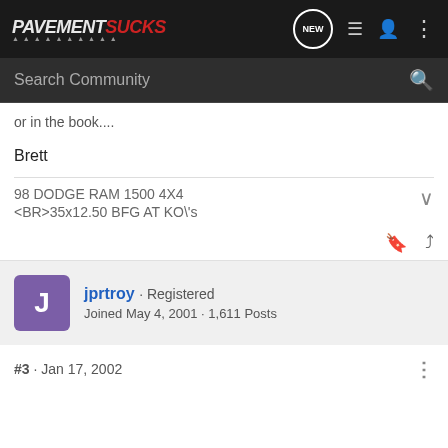PavementSucks — Search Community navigation bar
or in the book....
Brett
98 DODGE RAM 1500 4X4
<BR>35x12.50 BFG AT KO\'s
jprtroy · Registered
Joined May 4, 2001 · 1,611 Posts
#3 · Jan 17, 2002